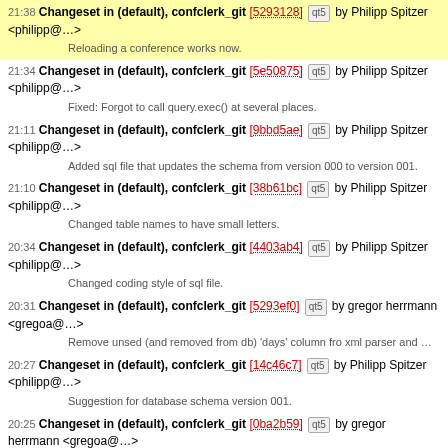21:38 Changeset in (default), confclerk_git [5293128] qt5 by Philipp Spitzer <philipp@...>
Reloading a conference works now.
21:34 Changeset in (default), confclerk_git [5e50875] qt5 by Philipp Spitzer <philipp@...>
Fixed: Forgot to call query.exec() at several places.
21:11 Changeset in (default), confclerk_git [9bbd5ae] qt5 by Philipp Spitzer <philipp@...>
Added sql file that updates the schema from version 000 to version 001.
21:10 Changeset in (default), confclerk_git [38b61bc] qt5 by Philipp Spitzer <philipp@...>
Changed table names to have small letters.
20:34 Changeset in (default), confclerk_git [4403ab4] qt5 by Philipp Spitzer <philipp@...>
Changed coding style of sql file.
20:31 Changeset in (default), confclerk_git [5293ef0] qt5 by gregor herrmann <gregoa@...>
Remove unsed (and removed from db) 'days' column fro xml parser and ...
20:27 Changeset in (default), confclerk_git [14c46c7] qt5 by Philipp Spitzer <philipp@...>
Suggestion for database schema version 001.
20:25 Changeset in (default), confclerk_git [0ba2b59] qt5 by gregor herrmann <gregoa@...>
Don't insert empty string into picture column. (NOT NULL constraint...